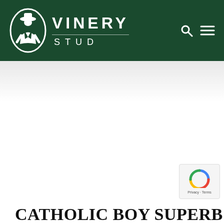[Figure (logo): Vinery Stud logo: white oval with stylized jockey figure and 'VM' monogram, with 'VINERY STUD' text in white on dark green background header, plus search and menu icons]
CATHOLIC BOY SUPERB IN DIXIE